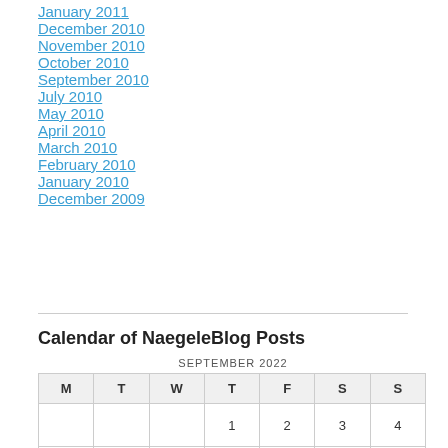January 2011
December 2010
November 2010
October 2010
September 2010
July 2010
May 2010
April 2010
March 2010
February 2010
January 2010
December 2009
Calendar of NaegeleBlog Posts
SEPTEMBER 2022
| M | T | W | T | F | S | S |
| --- | --- | --- | --- | --- | --- | --- |
|  |  |  | 1 | 2 | 3 | 4 |
| 5 | 6 | 7 | 8 | 9 | 10 | 11 |